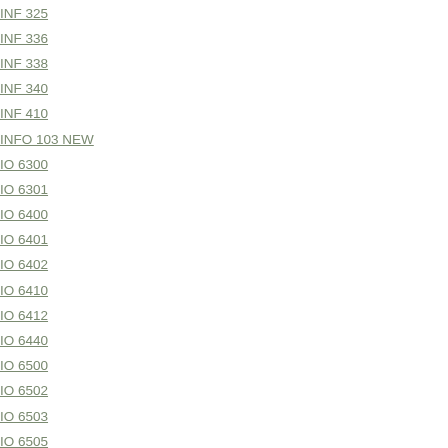INF 325
INF 336
INF 338
INF 340
INF 410
INFO 103 NEW
IO 6300
IO 6301
IO 6400
IO 6401
IO 6402
IO 6410
IO 6412
IO 6440
IO 6500
IO 6502
IO 6503
IO 6505